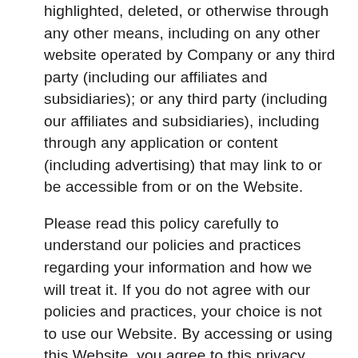highlighted, deleted, or otherwise through any other means, including on any other website operated by Company or any third party (including our affiliates and subsidiaries); or any third party (including our affiliates and subsidiaries), including through any application or content (including advertising) that may link to or be accessible from or on the Website.
Please read this policy carefully to understand our policies and practices regarding your information and how we will treat it. If you do not agree with our policies and practices, your choice is not to use our Website. By accessing or using this Website, you agree to this privacy policy. This policy may change from time to time. Your continued use of this Website after we make changes is deemed to be acceptance of those changes, so please check the policy periodically for updates.